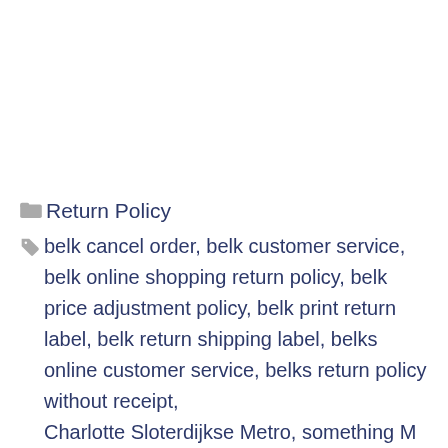Return Policy
belk cancel order, belk customer service, belk online shopping return policy, belk price adjustment policy, belk print return label, belk return shipping label, belks online customer service, belks return policy without receipt, Charlotte Sloterdijkse Metro, something M...